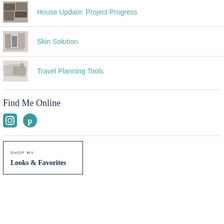House Update: Project Progress
Skin Solution
Travel Planning Tools
Find Me Online
[Figure (infographic): Instagram and Pinterest social media icons]
SHOP MY
Looks & Favorites